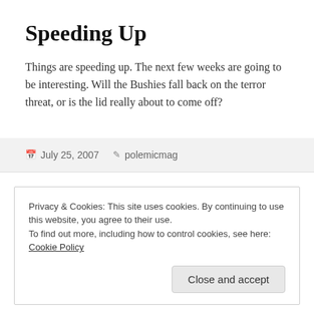Speeding Up
Things are speeding up. The next few weeks are going to be interesting. Will the Bushies fall back on the terror threat, or is the lid really about to come off?
July 25, 2007   polemicmag
Privacy & Cookies: This site uses cookies. By continuing to use this website, you agree to their use.
To find out more, including how to control cookies, see here: Cookie Policy
Close and accept